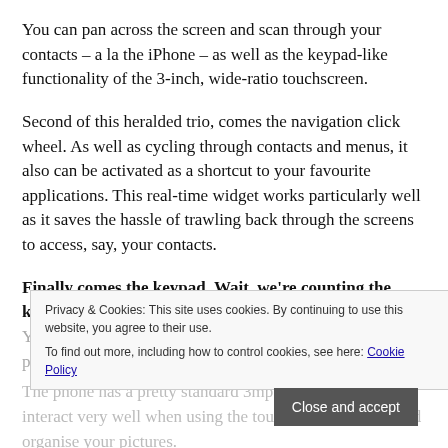You can pan across the screen and scan through your contacts – a la the iPhone – as well as the keypad-like functionality of the 3-inch, wide-ratio touchscreen.
Second of this heralded trio, comes the navigation click wheel. As well as cycling through contacts and menus, it also can be activated as a shortcut to your favourite applications. This real-time widget works particularly well as it saves the hassle of trawling back through the screens to access, say, your contacts.
Finally comes the keypad. Wait, we're counting the keypad? Yes, OK? we're counting the keypad. Well that's nothing to post a myspace bulletin about really.
The phone has a pretty standard 3mp camera, but it does interact very well when using the touch screen to view and organise your pictures.
Privacy & Cookies: This site uses cookies. By continuing to use this website, you agree to their use.
To find out more, including how to control cookies, see here: Cookie Policy
Close and accept